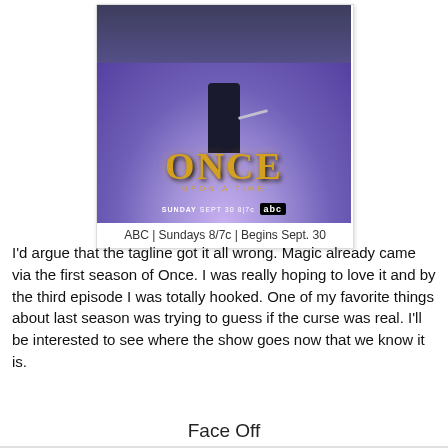[Figure (photo): Promotional poster for ABC TV show 'Once Upon a Time' showing a figure holding a sword standing on a purple fog-covered street, with the show title in gold lettering]
ABC | Sundays 8/7c | Begins Sept. 30
I'd argue that the tagline got it all wrong. Magic already came via the first season of Once. I was really hoping to love it and by the third episode I was totally hooked. One of my favorite things about last season was trying to guess if the curse was real. I'll be interested to see where the show goes now that we know it is.
Face Off